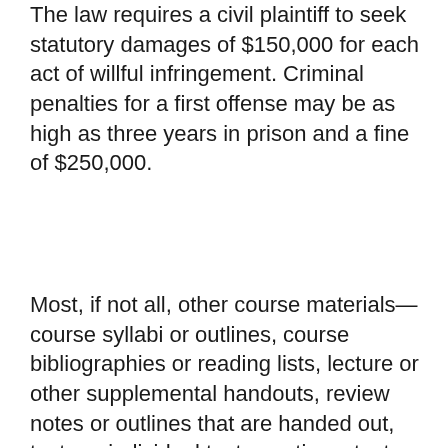The law requires a civil plaintiff to seek statutory damages of $150,000 for each act of willful infringement. Criminal penalties for a first offense may be as high as three years in prison and a fine of $250,000.
Most, if not all, other course materials—course syllabi or outlines, course bibliographies or reading lists, lecture or other supplemental handouts, review notes or outlines that are handed out, tests or individual test questions, test answers, and other instructional materials provided to students by their professor or other instructors—are also copyright-protected materials. The content of materials does not belong to the student. The student enrolled in a course has only limited permission, a nonexclusive license, to use those materials, and that permission is limited to use strictly in conjunction with that student's participation in the course in which the